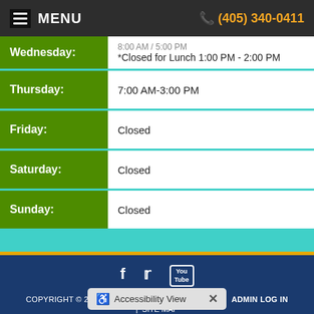MENU | (405) 340-0411
| Day | Hours |
| --- | --- |
| Wednesday: | *Closed for Lunch 1:00 PM - 2:00 PM |
| Thursday: | 7:00 AM-3:00 PM |
| Friday: | Closed |
| Saturday: | Closed |
| Sunday: | Closed |
COPYRIGHT © 2022 MH SUB I, LLC DBA OFFICITE. | ADMIN LOG IN | SITE MAP
Accessibility View